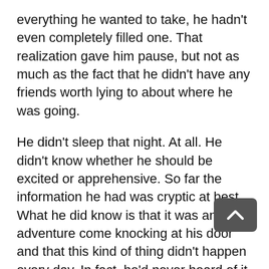everything he wanted to take, he hadn't even completely filled one. That realization gave him pause, but not as much as the fact that he didn't have any friends worth lying to about where he was going.
He didn't sleep that night. At all. He didn't know whether he should be excited or apprehensive. So far the information he had was cryptic at best. What he did know is that it was an adventure come knocking at his door and that this kind of thing didn't happen every day. In fact, he'd never heard of it happening to anybody. Ever. The idea of a school that wanted him was so outrageous it made him smile to himself in the dark.
The next morning Storm said goodbye to his older brother and younger sister when they